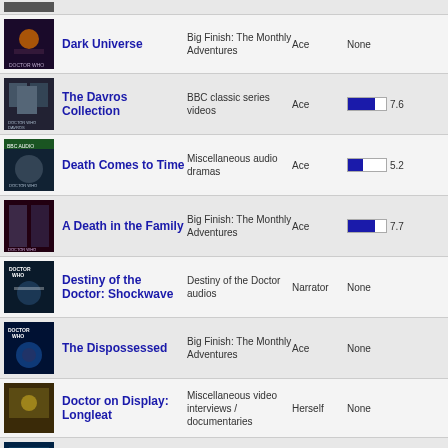Dark Universe | Big Finish: The Monthly Adventures | Ace | None
The Davros Collection | BBC classic series videos | Ace | 7.6
Death Comes to Time | Miscellaneous audio dramas | Ace | 5.2
A Death in the Family | Big Finish: The Monthly Adventures | Ace | 7.7
Destiny of the Doctor: Shockwave | Destiny of the Doctor audios | Narrator | None
The Dispossessed | Big Finish: The Monthly Adventures | Ace | None
Doctor on Display: Longleat | Miscellaneous video interviews / documentaries | Herself | None
Doctor on Display: The Museum of... | Miscellaneous video interviews / | Herself | None